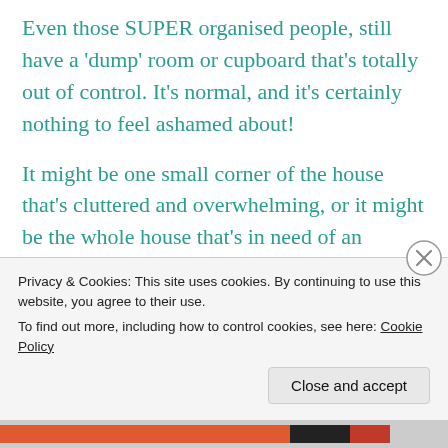Even those SUPER organised people, still have a 'dump' room or cupboard that's totally out of control.  It's normal, and it's certainly nothing to feel ashamed about!
It might be one small corner of the house that's cluttered and overwhelming, or it might be the whole house that's in need of an overhaul! What ever your personal situation, Little Perfections is
Privacy & Cookies: This site uses cookies. By continuing to use this website, you agree to their use.
To find out more, including how to control cookies, see here: Cookie Policy